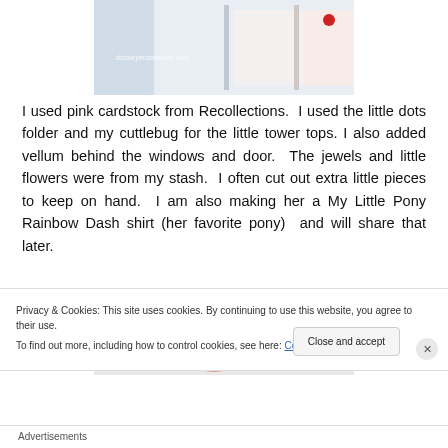[Figure (photo): Partial photo of a pink cardstock castle craft project with watermark 'debneyercreations.com' and a red dot visible in upper right area. Light blue, pink, and cream tones.]
I used pink cardstock from Recollections.  I used the little dots folder and my cuttlebug for the little tower tops. I also added vellum behind the windows and door.  The jewels and little flowers were from my stash.  I often cut out extra little pieces to keep on hand.  I am also making her a My Little Pony Rainbow Dash shirt (her favorite pony)  and will share that later.
[Figure (photo): Partial photo showing a pink/red rounded shape against a light gray background, partially obscured by cookie banner.]
Privacy & Cookies: This site uses cookies. By continuing to use this website, you agree to their use.
To find out more, including how to control cookies, see here: Cookie Policy
Close and accept
Advertisements